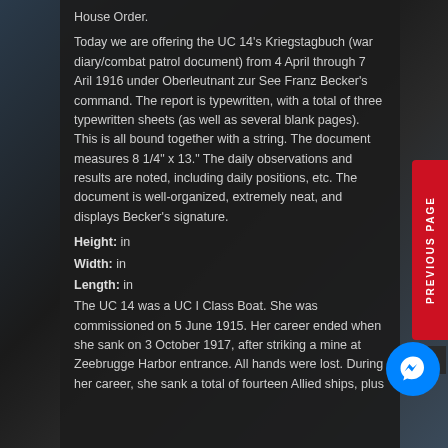House Order.
Today we are offering the UC 14's Kriegstagbuch (war diary/combat patrol document) from 4 April through 7 Aril 1916 under Oberleutnant zur See Franz Becker's command. The report is typewritten, with a total of three typewritten sheets (as well as several blank pages). This is all bound together with a string. The document measures 8 1/4" x 13." The daily observations and results are noted, including daily positions, etc. The document is well-organized, extremely neat, and displays Becker's signature.
Height: in
Width: in
Length: in
The UC 14 was a UC I Class Boat. She was commissioned on 5 June 1915. Her career ended when she sank on 3 October 1917, after striking a mine at Zeebrugge Harbor entrance. All hands were lost. During her career, she sank a total of fourteen Allied ships, plus